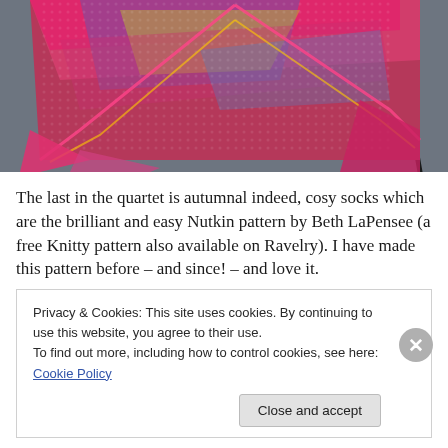[Figure (photo): A colorful crocheted/knitted shawl in pink, purple, yellow and multicolor yarn laid flat on a grey surface, with a dark knitting needle visible at the right edge.]
The last in the quartet is autumnal indeed, cosy socks which are the brilliant and easy Nutkin pattern by Beth LaPensee (a free Knitty pattern also available on Ravelry). I have made this pattern before – and since! – and love it.
Privacy & Cookies: This site uses cookies. By continuing to use this website, you agree to their use.
To find out more, including how to control cookies, see here: Cookie Policy